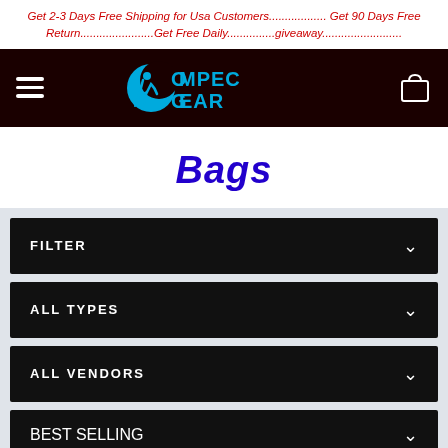Get 2-3 Days Free Shipping for Usa Customers.................. Get 90 Days Free Return.......................Get Free Daily...............giveaway.........................
[Figure (logo): Ompec Gear logo with cyan crescent moon and running figure, white text on dark background]
Bags
FILTER
ALL TYPES
ALL VENDORS
BEST SELLING